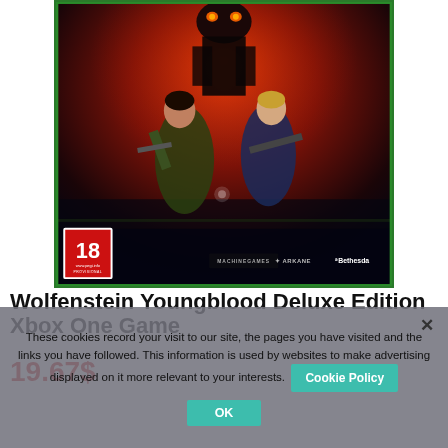[Figure (photo): Wolfenstein Youngblood Deluxe Edition Xbox One Game product cover art showing two female characters holding weapons against a red and dark background, with a giant robot silhouette. PEGI 18 badge bottom left, Machine Games, Arkane, and Bethesda logos bottom right. Green Xbox border.]
Wolfenstein Youngblood Deluxe Edition Xbox One Game
19.67$
These cookies record your visit to our site, the pages you have visited and the links you have followed. This information is used by websites to make advertising displayed on it more relevant to your interests. Cookie Policy OK